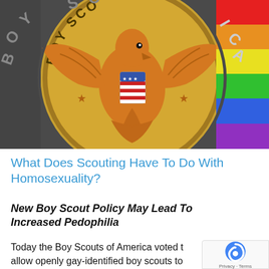[Figure (photo): Boy Scouts of America emblem/logo showing a bronze eagle with a US flag shield on its chest, with text 'BOY SCOUTS' around the circular medallion. A rainbow pride flag is visible in the upper right corner.]
What Does Scouting Have To Do With Homosexuality?
New Boy Scout Policy May Lead To Increased Pedophilia
Today the Boy Scouts of America voted to allow openly gay-identified boy scouts to participate in the program, which